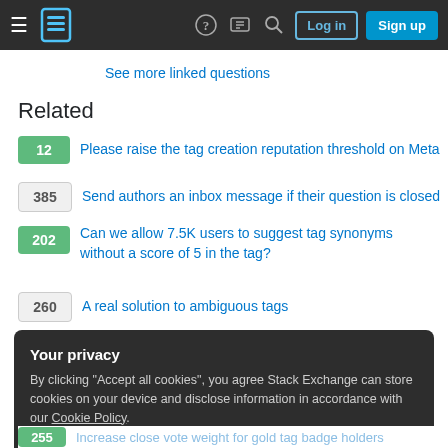Stack Exchange navigation bar with hamburger menu, logo, question mark, chat, search, Log in, Sign up buttons
See more linked questions
Related
12 Please raise the tag creation reputation threshold on Meta
385 Send authors an inbox message if their question is closed
202 Can we allow 7.5K users to suggest tag synonyms without a score of 5 in the tag?
260 A real solution to ambiguous tags
Your privacy
By clicking "Accept all cookies", you agree Stack Exchange can store cookies on your device and disclose information in accordance with our Cookie Policy.
Accept all cookies  Customize settings
255 Increase close vote weight for gold tag badge holders